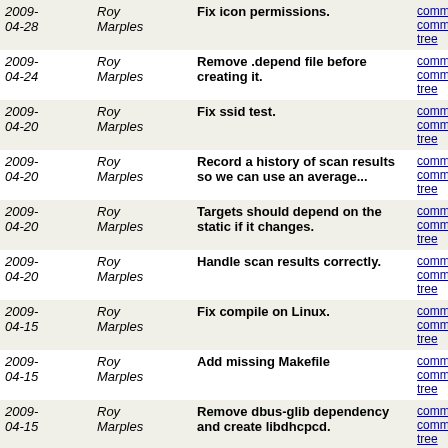| Date | Author | Message | Links |
| --- | --- | --- | --- |
| 2009-04-28 | Roy Marples | Fix icon permissions. | commit | commitdiff | tree |
| 2009-04-24 | Roy Marples | Remove .depend file before creating it. | commit | commitdiff | tree |
| 2009-04-20 | Roy Marples | Fix ssid test. | commit | commitdiff | tree |
| 2009-04-20 | Roy Marples | Record a history of scan results so we can use an average... | commit | commitdiff | tree |
| 2009-04-20 | Roy Marples | Targets should depend on the static if it changes. | commit | commitdiff | tree |
| 2009-04-20 | Roy Marples | Handle scan results correctly. | commit | commitdiff | tree |
| 2009-04-15 | Roy Marples | Fix compile on Linux. | commit | commitdiff | tree |
| 2009-04-15 | Roy Marples | Add missing Makefile | commit | commitdiff | tree |
| 2009-04-15 | Roy Marples | Remove dbus-glib dependency and create libdhcpcd. | commit | commitdiff | tree |
| 2009-04-02 | Roy Marples | We should use rsvg_convert over rsvg | commit | commitdiff | tree |
| 2009-04-01 | Roy Marples | Ignore more files. | commit | commitdiff | tree |
| 2009-04-01 | Roy Marples | Fix tree | commit | commitdiff | tree |
| 2009-04-01 | Roy Marples | Move source to subdir src | commit | commitdiff | tree |
| 2009- | Roy | Work with icons a bit better if | commit | commitdiff | tree |